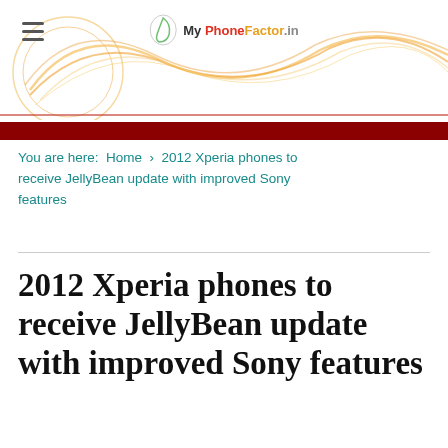[Figure (logo): My PhoneFactor.in website header with decorative swirl graphic and hamburger menu icon]
You are here: Home › 2012 Xperia phones to receive JellyBean update with improved Sony features
2012 Xperia phones to receive JellyBean update with improved Sony features